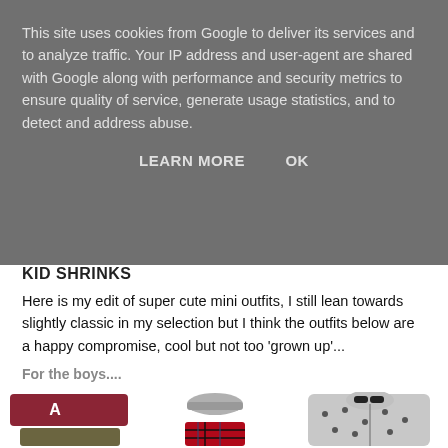This site uses cookies from Google to deliver its services and to analyze traffic. Your IP address and user-agent are shared with Google along with performance and security metrics to ensure quality of service, generate usage statistics, and to detect and address abuse.
LEARN MORE    OK
KID SHRINKS
Here is my edit of super cute mini outfits, I still lean towards slightly classic in my selection but I think the outfits below are a happy compromise, cool but not too 'grown up'...
For the boys....
[Figure (photo): Three columns of children's clothing items: left column shows a burgundy graphic t-shirt with 'A' logo and olive/khaki shorts; middle column shows a grey knit beanie hat and a red plaid/tartan long-sleeve shirt; right column shows a grey hooded zip-up sweatshirt with dark pattern print and a raccoon-style hood.]